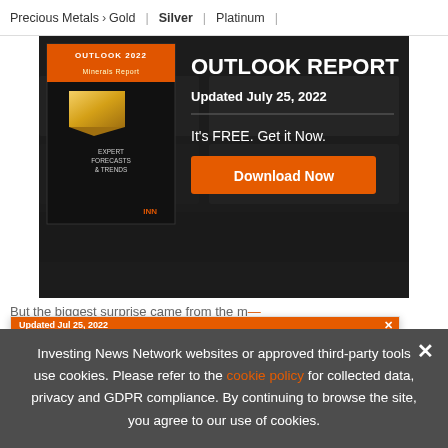Precious Metals > Gold | Silver | Platinum |
[Figure (infographic): Gold Outlook 2022 report advertisement banner with book cover image, gold bars background, title 'OUTLOOK REPORT', date 'Updated July 25, 2022', tagline 'It's FREE. Get it Now.', and orange 'Download Now' button]
But the biggest surprise came from the metal...
[Figure (infographic): Floating ad overlay: Updated Jul 25, 2022 bar, Gold Outlook 2022 logo, 'TOP GOLD Stocks, Trends, Forecasts 2022 Gold Outlook Report', INN branding, close X button]
tonne, pushing the London Metal Exchange to halt
Investing News Network websites or approved third-party tools use cookies. Please refer to the cookie policy for collected data, privacy and GDPR compliance. By continuing to browse the site, you agree to our use of cookies.